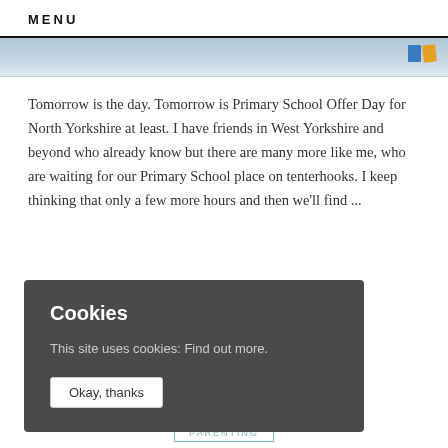MENU
[Figure (photo): Partial screenshot of a map or image strip at the top of the webpage]
Tomorrow is the day. Tomorrow is Primary School Offer Day for North Yorkshire at least. I have friends in West Yorkshire and beyond who already know but there are many more like me, who are waiting for our Primary School place on tenterhooks. I keep thinking that only a few more hours and then we'll find ...
Cookies
This site uses cookies: Find out more.
Okay, thanks
PARENTING